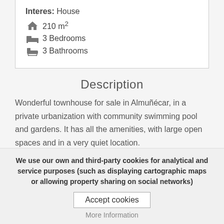Interes: House
210 m²
3 Bedrooms
3 Bathrooms
Description
Wonderful townhouse for sale in Almuñécar, in a private urbanization with community swimming pool and gardens. It has all the amenities, with large open spaces and in a very quiet location. The house, built on two floors, has a total of 130 square
We use our own and third-party cookies for analytical and service purposes (such as displaying cartographic maps or allowing property sharing on social networks)
Accept cookies
More Information